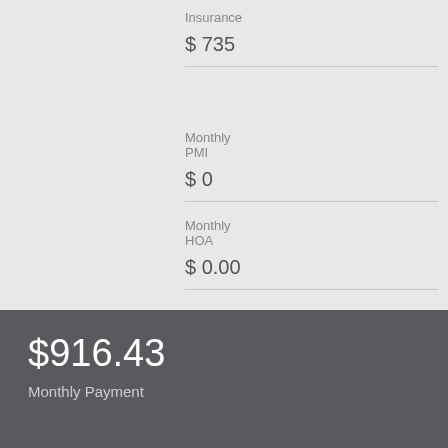Insurance
$ 735
Monthly PMI
$ 0
Monthly HOA
$ 0.00
$916.43
Monthly Payment